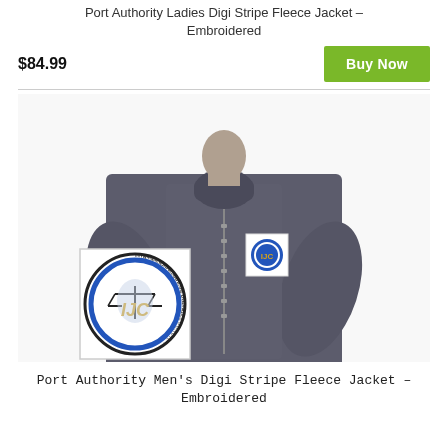Port Authority Ladies Digi Stripe Fleece Jacket – Embroidered
$84.99
[Figure (photo): Port Authority Men's Digi Stripe Fleece Jacket with IJC logo embroidered on the chest, shown with a larger IJC logo overlay]
Port Authority Men's Digi Stripe Fleece Jacket – Embroidered